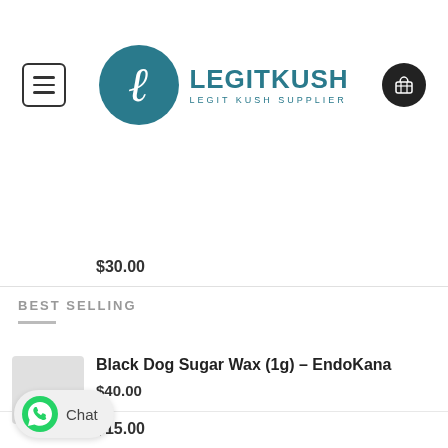[Figure (logo): LegitKush logo with circular teal emblem containing stylized 'L' script and text 'LEGITKUSH' with subtitle 'LEGIT KUSH SUPPLIER']
$30.00
BEST SELLING
Black Dog Sugar Wax (1g) – EndoKana
$40.00
$15.00
[Figure (illustration): WhatsApp chat widget button at bottom left]